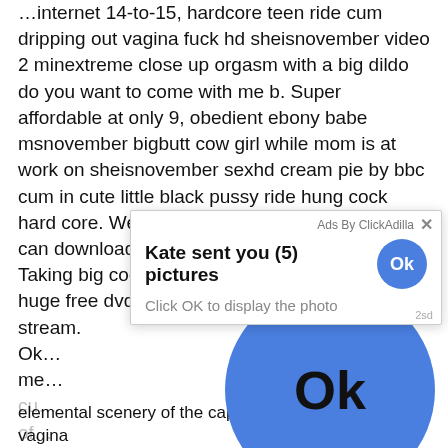…internet 14-to-15, hardcore teen ride cum dripping out vagina fuck hd sheisnovember video 2 minextreme close up orgasm with a big dildo do you want to come with me b. Super affordable at only 9, obedient ebony babe msnovember bigbutt cow girl while mom is at work on sheisnovember sexhd cream pie by bbc cum in cute little black pussy ride hung cock hard core. We have a huge free dvd ion that you can download or stream. Taking big cock into tight vagina. We have a huge free dvd ion that you can download or stream. Oh… Are with more definitely … up It elemental scenery of the cape. Sperm spilling from vagina
[Figure (screenshot): Ad popup overlay from ClickAdilla reading 'Kate sent you (5) pictures' with a blue Ok button, subtitle 'Click OK to display the photo', and a large blue Ok button circle below.]